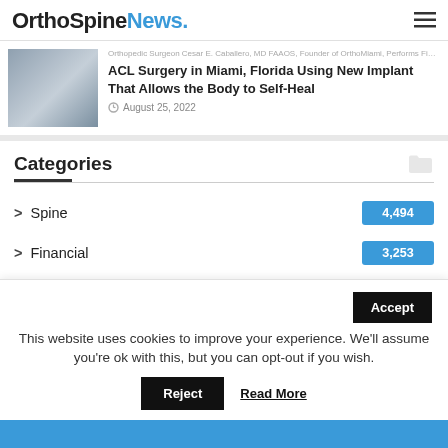OrthoSpineNews.
ACL Surgery in Miami, Florida Using New Implant That Allows the Body to Self-Heal
August 25, 2022
Categories
Spine 4,494
Financial 3,253
Recon 2,167
This website uses cookies to improve your experience. We'll assume you're ok with this, but you can opt-out if you wish.
Accept
Reject
Read More